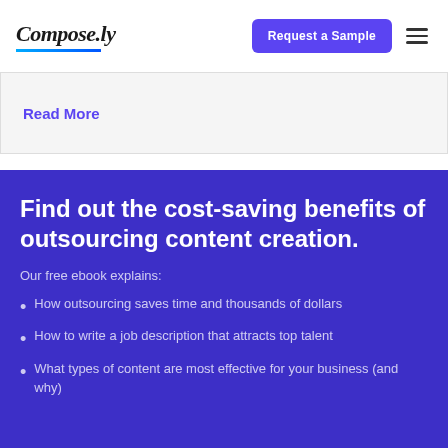Compose.ly | Request a Sample
Read More
Find out the cost-saving benefits of outsourcing content creation.
Our free ebook explains:
How outsourcing saves time and thousands of dollars
How to write a job description that attracts top talent
What types of content are most effective for your business (and why)